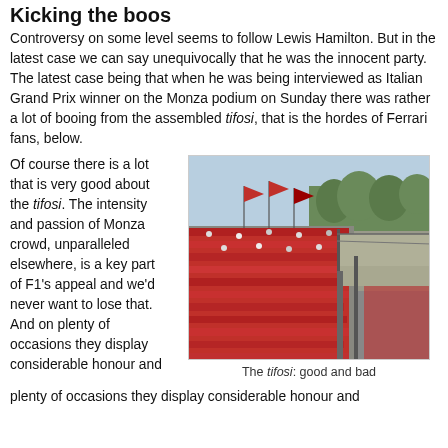Kicking the boos
Controversy on some level seems to follow Lewis Hamilton. But in the latest case we can say unequivocally that he was the innocent party. The latest case being that when he was being interviewed as Italian Grand Prix winner on the Monza podium on Sunday there was rather a lot of booing from the assembled tifosi, that is the hordes of Ferrari fans, below.
Of course there is a lot that is very good about the tifosi. The intensity and passion of Monza crowd, unparalleled elsewhere, is a key part of F1's appeal and we'd never want to lose that. And on plenty of occasions they display considerable honour and
[Figure (photo): Crowd of Ferrari fans (tifosi) in red filling the grandstands at Monza circuit, with the racing track visible and trees in the background.]
The tifosi: good and bad